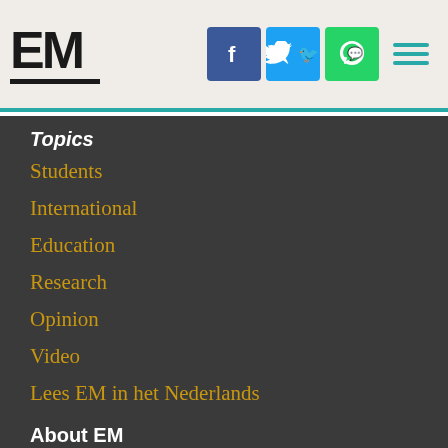[Figure (logo): EM logo in bold black text with underline bar]
[Figure (infographic): Social media icons: Facebook (blue), Twitter (light blue), WhatsApp (green), and hamburger menu icon (teal) in the header]
Topics
Students
International
Education
Research
Opinion
Video
Lees EM in het Nederlands
About EM
Contact us